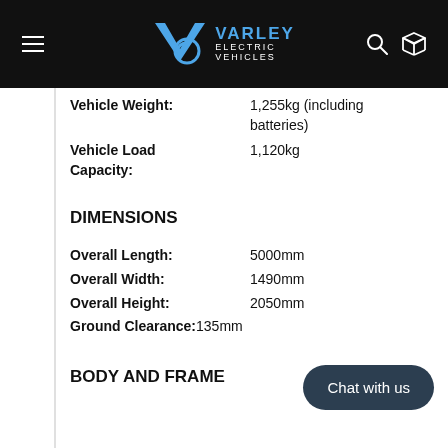Varley Electric Vehicles
Vehicle Weight: 1,255kg (including batteries)
Vehicle Load Capacity: 1,120kg
DIMENSIONS
Overall Length: 5000mm
Overall Width: 1490mm
Overall Height: 2050mm
Ground Clearance: 135mm
BODY AND FRAME